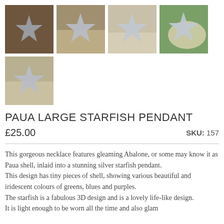[Figure (photo): Five thumbnail photos of a starfish pendant/necklace from different angles — four in the top row, one in the second row]
PAUA LARGE STARFISH PENDANT
£25.00
SKU: 157
This gorgeous necklace features gleaming Abalone, or some may know it as Paua shell, inlaid into a stunning silver starfish pendant.
This design has tiny pieces of shell, showing various beautiful and iridescent colours of greens, blues and purples.
The starfish is a fabulous 3D design and is a lovely life-like design.
It is light enough to be worn all the time and also glam